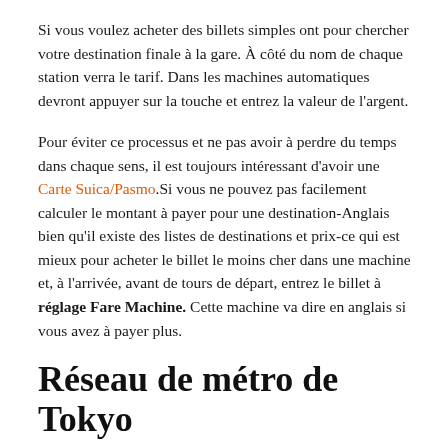Si vous voulez acheter des billets simples ont pour chercher votre destination finale à la gare. À côté du nom de chaque station verra le tarif. Dans les machines automatiques devront appuyer sur la touche et entrez la valeur de l'argent.
Pour éviter ce processus et ne pas avoir à perdre du temps dans chaque sens, il est toujours intéressant d'avoir une Carte Suica/Pasmo.Si vous ne pouvez pas facilement calculer le montant à payer pour une destination-Anglais bien qu'il existe des listes de destinations et prix-ce qui est mieux pour acheter le billet le moins cher dans une machine et, à l'arrivée, avant de tours de départ, entrez le billet à réglage Fare Machine. Cette machine va dire en anglais si vous avez à payer plus.
Réseau de métro de Tokyo